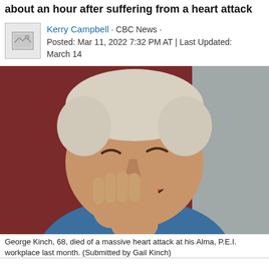about an hour after suffering from a heart attack
Kerry Campbell · CBC News · Posted: Mar 11, 2022 7:32 PM AT | Last Updated: March 14
[Figure (photo): An elderly man with white/grey hair wearing a blue shirt, laughing with his hand raised to his face. Background includes dark red and grey tones.]
George Kinch, 68, died of a massive heart attack at his Alma, P.E.I. workplace last month. (Submitted by Gail Kinch)